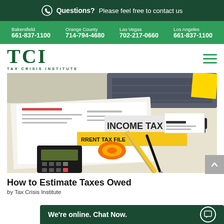Questions? Please feel free to contact us
Bakersfield 661-837-1100 | Orange County 714-794-4680 | Las Vegas 702-217-0660 | Los Angeles 661-837-1100
TCI TAX CRISIS INSTITUTE
[Figure (photo): Overhead photo of tax documents, calculator, keyboard, correction tape, pen, and folders labeled INCOME TAX and CURRENT TAX FILE on a desk]
How to Estimate Taxes Owed
by Tax Crisis Institute
We're online. Chat Now.